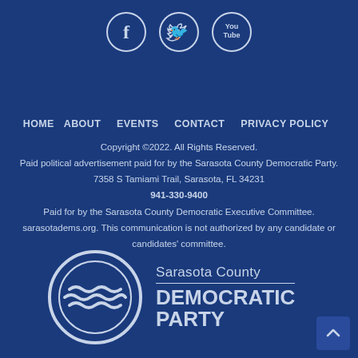[Figure (logo): Social media icons: Facebook (f), Twitter (bird), YouTube (You/Tube) — circular outlined icons on dark blue background]
HOME   ABOUT   EVENTS   CONTACT   PRIVACY POLICY
Copyright ©2022. All Rights Reserved.
Paid political advertisement paid for by the Sarasota County Democratic Party.
7358 S Tamiami Trail, Sarasota, FL 34231
941-330-9400
Paid for by the Sarasota County Democratic Executive Committee. sarasotadems.org. This communication is not authorized by any candidate or candidates' committee.
[Figure (logo): Sarasota County Democratic Party logo: circular wave emblem on left, text 'Sarasota County DEMOCRATIC PARTY' on right in light blue/white on dark blue background]